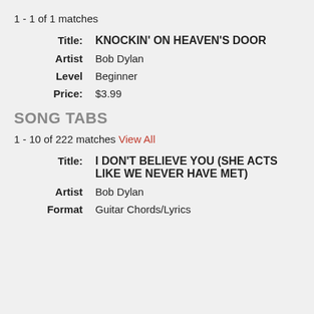1 - 1 of 1 matches
Title: KNOCKIN' ON HEAVEN'S DOOR | Artist: Bob Dylan | Level: Beginner | Price: $3.99
SONG TABS
1 - 10 of 222 matches View All
Title: I DON'T BELIEVE YOU (SHE ACTS LIKE WE NEVER HAVE MET) | Artist: Bob Dylan | Format: Guitar Chords/Lyrics